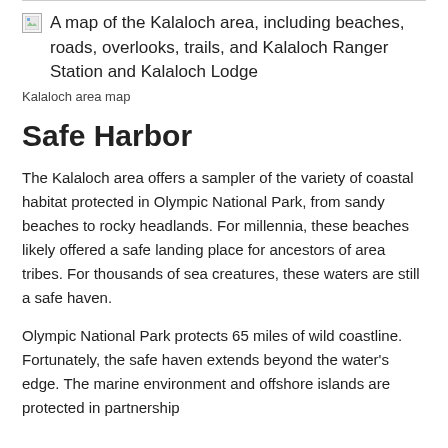[Figure (other): Broken image placeholder with alt text: A map of the Kalaloch area, including beaches, roads, overlooks, trails, and Kalaloch Ranger Station and Kalaloch Lodge]
Kalaloch area map
Safe Harbor
The Kalaloch area offers a sampler of the variety of coastal habitat protected in Olympic National Park, from sandy beaches to rocky headlands. For millennia, these beaches likely offered a safe landing place for ancestors of area tribes. For thousands of sea creatures, these waters are still a safe haven.
Olympic National Park protects 65 miles of wild coastline. Fortunately, the safe haven extends beyond the water's edge. The marine environment and offshore islands are protected in partnership